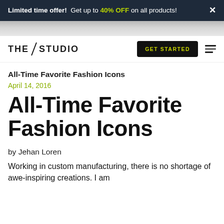Limited time offer! Get up to 40% OFF on all products! ×
[Figure (photo): Decorative grey image strip used as a banner/hero background]
THE STUDIO  GET STARTED  ☰
All-Time Favorite Fashion Icons
April 14, 2016
All-Time Favorite Fashion Icons
by Jehan Loren
Working in custom manufacturing, there is no shortage of awe-inspiring creations. I am